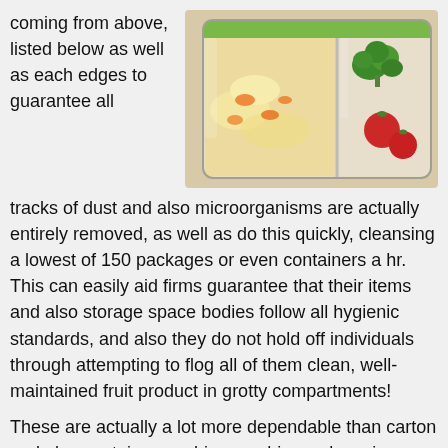coming from above, listed below as well as each edges to guarantee all
[Figure (photo): A glass meal prep container with compartments holding rice with vegetables, broccoli, and cherry tomatoes, with a green lid.]
tracks of dust and also microorganisms are actually entirely removed, as well as do this quickly, cleansing a lowest of 150 packages or even containers a hr. This can easily aid firms guarantee that their items and also storage space bodies follow all hygienic standards, and also they do not hold off individuals through attempting to flog all of them clean, well-maintained fruit product in grotty compartments!
These are actually a lot more dependable than carton and also container washing machines, cleansing 1200 holders a hr, as well as may be gotten along with drying out add-ons to guarantee that the tidy holders are actually certainly not left